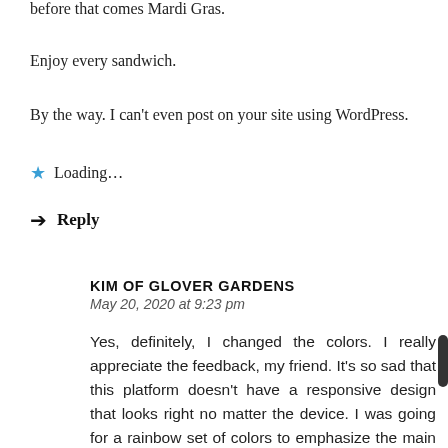before that comes Mardi Gras.
Enjoy every sandwich.
By the way. I can't even post on your site using WordPress.
★ Loading...
→ Reply
KIM OF GLOVER GARDENS
May 20, 2020 at 9:23 pm
Yes, definitely, I changed the colors. I really appreciate the feedback, my friend. It's so sad that this platform doesn't have a responsive design that looks right no matter the device. I was going for a rainbow set of colors to emphasize the main point but it didn't really work editorially because the segments in the colors weren't happy.
I feel the lament you voiced. It's real. We are grieving. I can't imagine what this must look like to people in professions that are so dependent on large gatherings. My son is sad about not